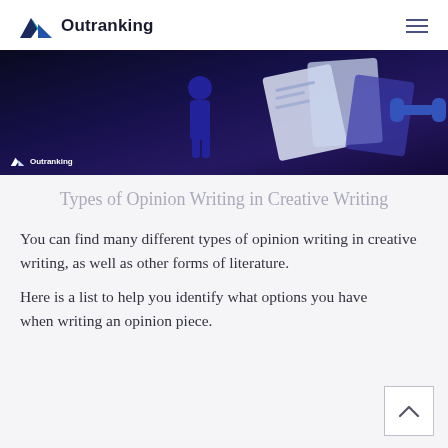[Figure (logo): Outranking logo with mountain/wave icon in blue and teal, followed by bold text 'Outranking']
[Figure (screenshot): Dark navy/purple banner image showing an illustrated person with large documents and geometric shapes, with Outranking watermark in bottom left]
Types of Opinion Writing in Creative Writing
You can find many different types of opinion writing in creative writing, as well as other forms of literature.
Here is a list to help you identify what options you have when writing an opinion piece.